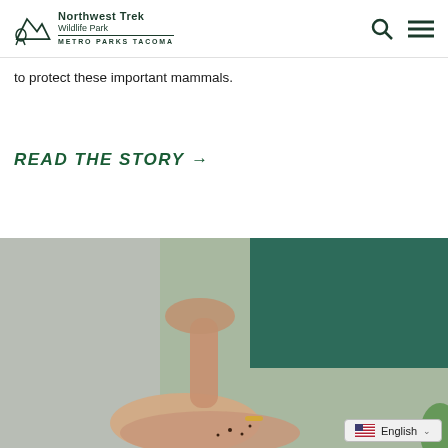Northwest Trek Wildlife Park — Metro Parks Tacoma
to protect these important mammals.
READ THE STORY →
[Figure (photo): Close-up photo of two hands — one hand open with palm up holding small dark seeds or insects, and a finger from the other hand pointing down toward them. The person is wearing a dark teal/green jacket and a gold ring.]